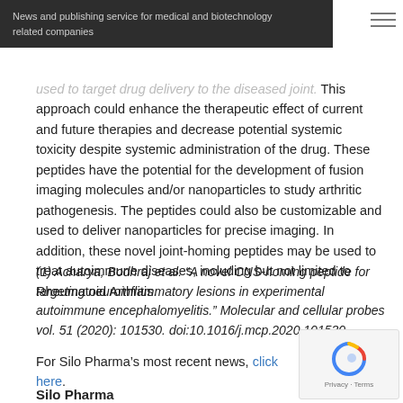News and publishing service for medical and biotechnology related companies
used to target drug delivery to the diseased joint. This approach could enhance the therapeutic effect of current and future therapies and decrease potential systemic toxicity despite systemic administration of the drug. These peptides have the potential for the development of fusion imaging molecules and/or nanoparticles to study arthritic pathogenesis. The peptides could also be customizable and used to deliver nanoparticles for precise imaging. In addition, these novel joint-homing peptides may be used to treat autoimmune diseases, including but not limited to Rheumatoid Arthritis.
(1) Acharya, Bodhraj et al. “A novel CNS-homing peptide for targeting neuroinflammatory lesions in experimental autoimmune encephalomyelitis.” Molecular and cellular probes vol. 51 (2020): 101530. doi:10.1016/j.mcp.2020.101530
For Silo Pharma’s most recent news, click here.
Silo Pharma